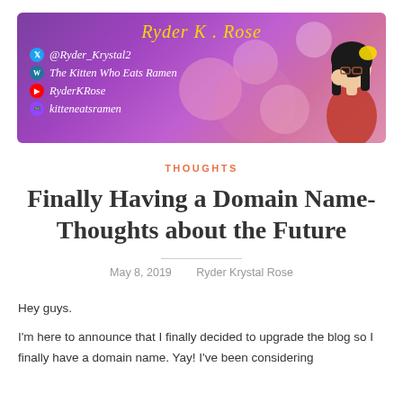[Figure (illustration): Blog header banner with purple gradient background, bokeh circles, text 'Ryder K. Rose' in yellow italic, social media links (@Ryder_Krystal2, The Kitten Who Eats Ramen, RyderKRose, kitteneatsramen) with platform icons, and an anime-style girl illustration on the right.]
THOUGHTS
Finally Having a Domain Name- Thoughts about the Future
May 8, 2019     Ryder Krystal Rose
Hey guys.
I'm here to announce that I finally decided to upgrade the blog so I finally have a domain name. Yay! I've been considering